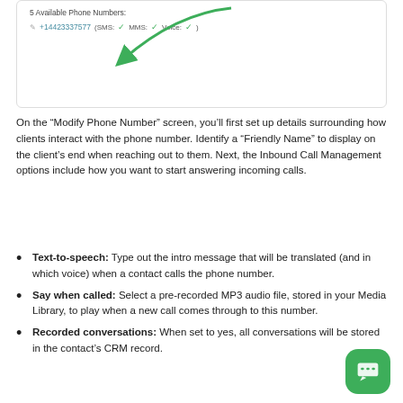[Figure (screenshot): Screenshot showing '5 Available Phone Numbers:' with a phone number +14423337577 listing SMS: checkmark, MMS: checkmark, Voice: checkmark, and a green arrow pointing to the phone number entry.]
On the “Modify Phone Number” screen, you’ll first set up details surrounding how clients interact with the phone number. Identify a “Friendly Name” to display on the client’s end when reaching out to them. Next, the Inbound Call Management options include how you want to start answering incoming calls.
Text-to-speech: Type out the intro message that will be translated (and in which voice) when a contact calls the phone number.
Say when called: Select a pre-recorded MP3 audio file, stored in your Media Library, to play when a new call comes through to this number.
Recorded conversations: When set to yes, all conversations will be stored in the contact’s CRM record.